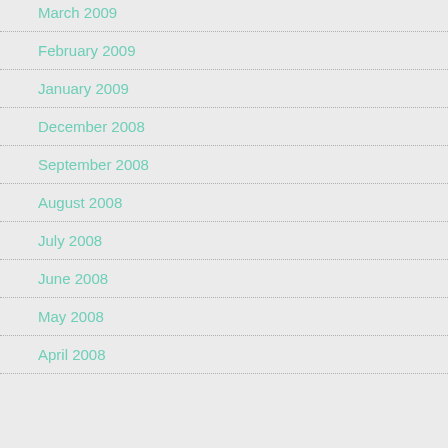March 2009
February 2009
January 2009
December 2008
September 2008
August 2008
July 2008
June 2008
May 2008
April 2008